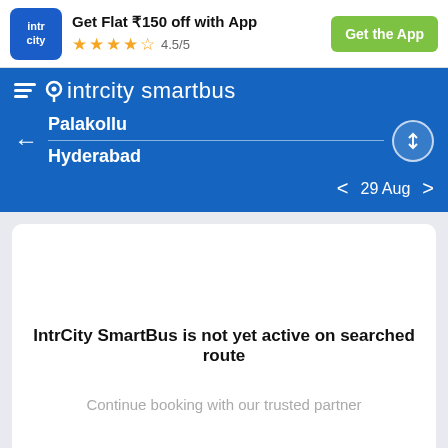[Figure (logo): IntrCity logo with blue rounded square background]
Get Flat ₹150 off with App
4.5/5
Get the App
[Figure (logo): IntrCity SmartBus brand logo with speed lines and location pin]
Palakollu
Hyderabad
29 Aug
IntrCity SmartBus is not yet active on searched route
Continue booking with our trusted partner